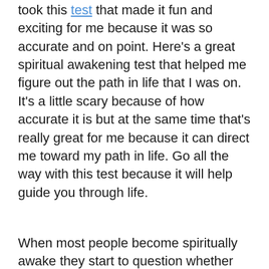took this test that made it fun and exciting for me because it was so accurate and on point. Here's a great spiritual awakening test that helped me figure out the path in life that I was on. It's a little scary because of how accurate it is but at the same time that's really great for me because it can direct me toward my path in life. Go all the way with this test because it will help guide you through life.
When most people become spiritually awake they start to question whether the path that there on I n life is the right one. Believe me when I tell you life is 10x better when your awake and opened to this reality because